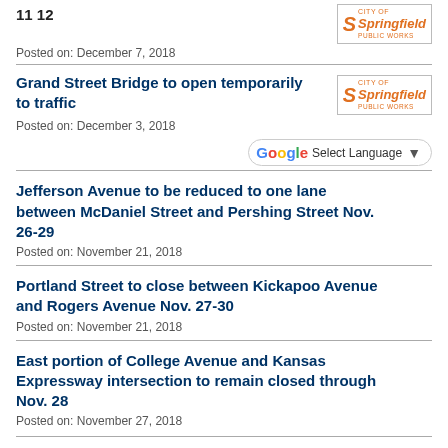11  12
[Figure (logo): City of Springfield Public Works logo in orange]
Posted on: December 7, 2018
Grand Street Bridge to open temporarily to traffic
Posted on: December 3, 2018
Jefferson Avenue to be reduced to one lane between McDaniel Street and Pershing Street Nov. 26-29
Posted on: November 21, 2018
Portland Street to close between Kickapoo Avenue and Rogers Avenue Nov. 27-30
Posted on: November 21, 2018
East portion of College Avenue and Kansas Expressway intersection to remain closed through Nov. 28
Posted on: November 27, 2018